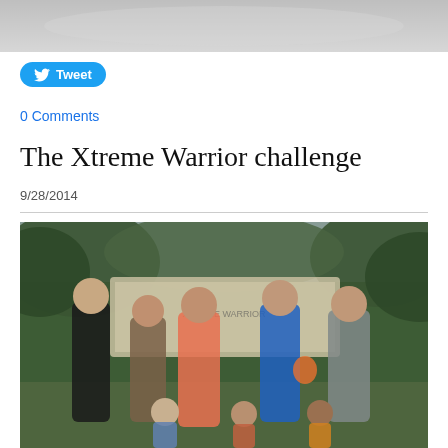[Figure (photo): Top portion of a photo, showing light gray/white background – appears to be partial image cropped at top of page]
[Figure (illustration): Twitter Tweet button with bird icon]
0 Comments
The Xtreme Warrior challenge
9/28/2014
[Figure (photo): Group of people standing outdoors in front of a banner, wearing athletic clothing. Trees visible in background. Several adults and children visible.]